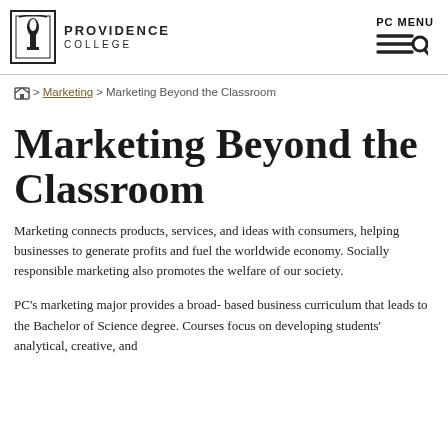PROVIDENCE COLLEGE | PC MENU
Home > Marketing > Marketing Beyond the Classroom
Marketing Beyond the Classroom
Marketing connects products, services, and ideas with consumers, helping businesses to generate profits and fuel the worldwide economy. Socially responsible marketing also promotes the welfare of our society.
PC's marketing major provides a broad- based business curriculum that leads to the Bachelor of Science degree. Courses focus on developing students' analytical, creative, and